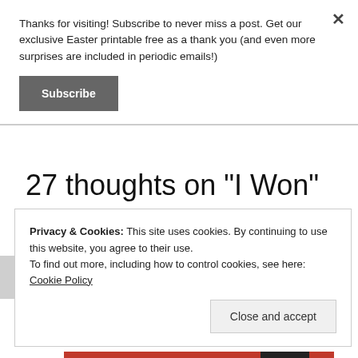Thanks for visiting! Subscribe to never miss a post. Get our exclusive Easter printable free as a thank you (and even more surprises are included in periodic emails!)
Subscribe
27 thoughts on “I Won”
Privacy & Cookies: This site uses cookies. By continuing to use this website, you agree to their use.
To find out more, including how to control cookies, see here: Cookie Policy
Close and accept